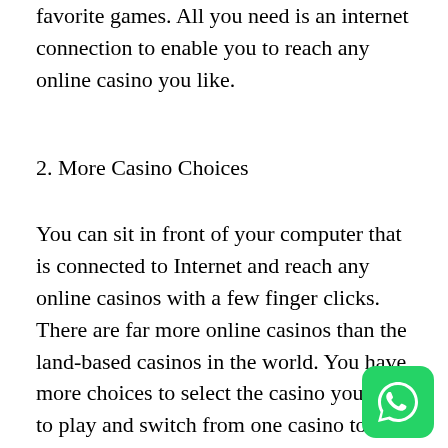favorite games. All you need is an internet connection to enable you to reach any online casino you like.
2. More Casino Choices
You can sit in front of your computer that is connected to Internet and reach any online casinos with a few finger clicks. There are far more online casinos than the land-based casinos in the world. You have more choices to select the casino you like to play and switch from one casino to another just to enjoy different playing environment offered by different online casinos. ดีดีดีดีดี
[Figure (logo): WhatsApp logo button — green rounded square with white phone handset icon]